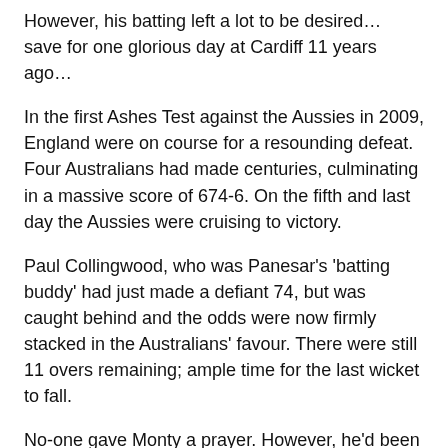However, his batting left a lot to be desired… save for one glorious day at Cardiff 11 years ago…
In the first Ashes Test against the Aussies in 2009, England were on course for a resounding defeat. Four Australians had made centuries, culminating in a massive score of 674-6. On the fifth and last day the Aussies were cruising to victory.
Paul Collingwood, who was Panesar's 'batting buddy' had just made a defiant 74, but was caught behind and the odds were now firmly stacked in the Australians' favour. There were still 11 overs remaining; ample time for the last wicket to fall.
No-one gave Monty a prayer. However, he'd been working hard on his batting, and believed that, sooner or later, he would show the world how much he'd improved with the willow in hand.
“Practice in the nets was always so much better than